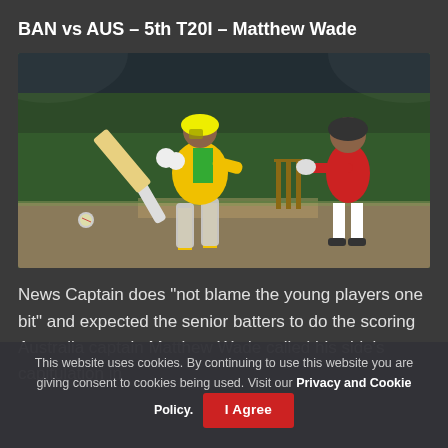BAN vs AUS – 5th T20I – Matthew Wade
[Figure (photo): Cricket match photo showing Australian batsman Matthew Wade in yellow-green kit playing a shot, with Bangladesh wicketkeeper in red kit behind the stumps, on a cricket field at night.]
News Captain does "not blame the young players one bit" and expected the senior batters to do the scoring Australia captain Matthew Wade called his side's capitulation in
This website uses cookies. By continuing to use this website you are giving consent to cookies being used. Visit our Privacy and Cookie Policy.